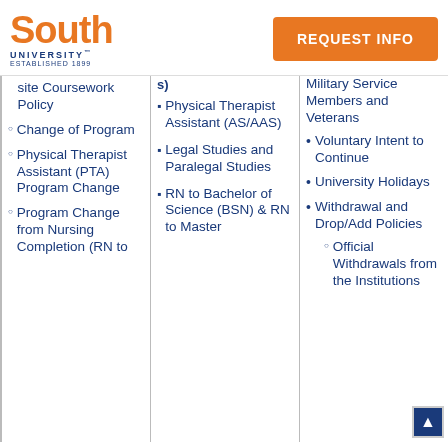South University | REQUEST INFO
site Coursework Policy
Change of Program
Physical Therapist Assistant (PTA) Program Change
Program Change from Nursing Completion (RN to
Physical Therapist Assistant (AS/AAS)
Legal Studies and Paralegal Studies
RN to Bachelor of Science (BSN) & RN to Master
Military Service Members and Veterans
Voluntary Intent to Continue
University Holidays
Withdrawal and Drop/Add Policies
Official Withdrawals from the Institutions